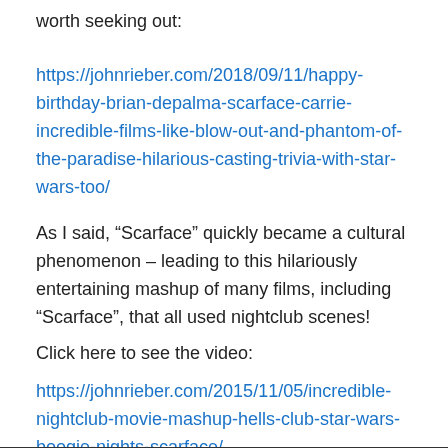worth seeking out:
https://johnrieber.com/2018/09/11/happy-birthday-brian-depalma-scarface-carrie-incredible-films-like-blow-out-and-phantom-of-the-paradise-hilarious-casting-trivia-with-star-wars-too/
As I said, “Scarface” quickly became a cultural phenomenon – leading to this hilariously entertaining mashup of many films, including “Scarface”, that all used nightclub scenes!
Click here to see the video:
https://johnrieber.com/2015/11/05/incredible-nightclub-movie-mashup-hells-club-star-wars-boogie-nights-scarface/